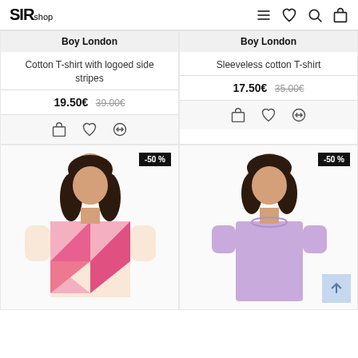SIRshop — navigation header with menu, heart, search, and bag icons
Boy London
Cotton T-shirt with logoed side stripes
19.50€  39.00€
Boy London
Sleeveless cotton T-shirt
17.50€  35.00€
[Figure (photo): Female model wearing a pink/orange geometric print T-shirt, -50% badge]
[Figure (photo): Female model wearing a lavender T-shirt, -50% badge]